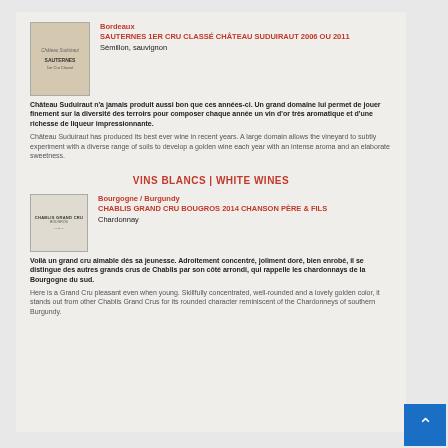Bordeaux
SAUTERNES 1ER CRU CLASSÉ CHÂTEAU SUDUIRAUT 2006 OU 2011
Sémillon, sauvignon
Château Suduiraut n'a jamais produit aussi bon que ces années-ci. Un grand domaine lui permet de jouer finement sur la diversité des terroirs pour composer chaque année un vin d'or très aromatique et d'une richesse de liqueur impressionnante.
Château Suduiraut has produced its best ever wine in recent years. A large domain allows the vineyard to subtly experiment with a diverse range of soils to develop a golden wine each year with an intense aroma and an elaborate sweetness.
VINS BLANCS | WHITE WINES
Bourgogne / Burgundy
CHABLIS GRAND CRU BOUGROS 2014 CHANSON PÈRE & FILS
Chardonnay
Voilà un grand cru aimable dès sa jeunesse. Adroitement concentré, joliment doré, bien enrobé, il se distingue des autres grands crus de Chablis par son côté arrondi, qui rappelle les chardonnays de la Bourgogne du sud.
Here is a Grand Cru pleasant even when young. Skillfully concentrated, well-rounded and a lovely golden color, it stands out from other Chablis Grand Crus for its rounded character reminiscent of the Chardonneys of southern Burgundy.